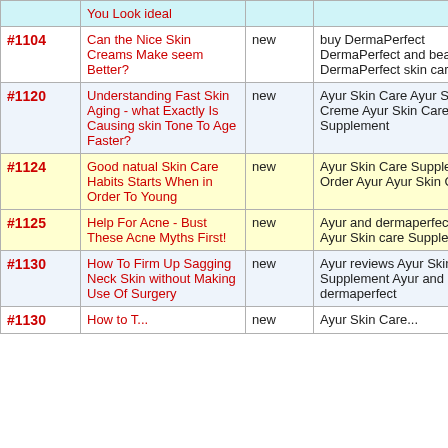| ID | Title | Status | Keywords | ... |
| --- | --- | --- | --- | --- |
|  | You Look ideal |  |  |  |
| #1104 | Can the Nice Skin Creams Make seem Better? | new | buy DermaPerfect DermaPerfect and beaute md DermaPerfect skin care | som |
| #1120 | Understanding Fast Skin Aging - what Exactly Is Causing skin Tone To Age Faster? | new | Ayur Skin Care Ayur Skin Creme Ayur Skin Care Supplement | som |
| #1124 | Good natual Skin Care Habits Starts When in Order To Young | new | Ayur Skin Care Supplement Order Ayur Ayur Skin Care | som |
| #1125 | Help For Acne - Bust These Acne Myths First! | new | Ayur and dermaperfect Ayur Ayur Skin care Supplements | som |
| #1130 | How To Firm Up Sagging Neck Skin without Making Use Of Surgery | new | Ayur reviews Ayur Skin Care Supplement Ayur and dermaperfect | som |
| #1130+ | How to T... | new | Ayur Skin Care... |  |